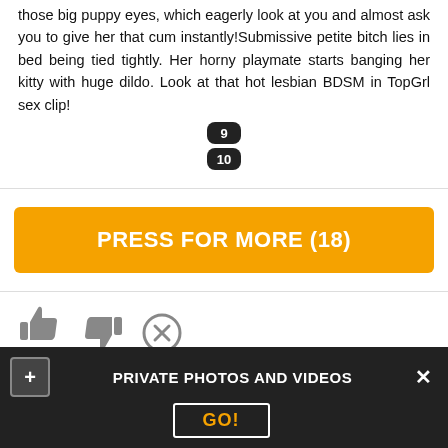those big puppy eyes, which eagerly look at you and almost ask you to give her that cum instantly!Submissive petite bitch lies in bed being tied tightly. Her horny playmate starts banging her kitty with huge dildo. Look at that hot lesbian BDSM in TopGrl sex clip!
9
10
PRESS FOR MORE (18)
[Figure (infographic): Thumbs up icon, thumbs down icon, and X circle icon with 99% rating label]
Comments (7)
Kocai - 13 March 06:25
PRIVATE PHOTOS AND VIDEOS
GO!